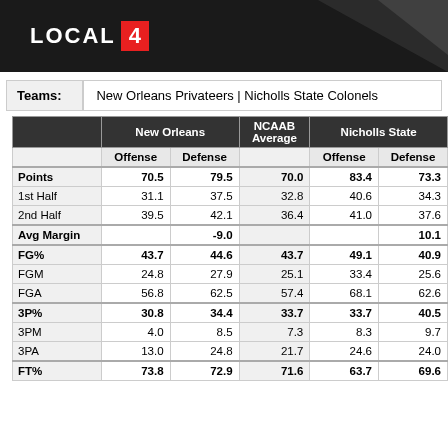LOCAL 4
| Teams: | New Orleans Privateers | Nicholls State Colonels |
| --- | --- |
|  | New Orleans Offense | New Orleans Defense | NCAAB Average | Nicholls State Offense | Nicholls State Defense |
| --- | --- | --- | --- | --- | --- |
| Points | 70.5 | 79.5 | 70.0 | 83.4 | 73.3 |
| 1st Half | 31.1 | 37.5 | 32.8 | 40.6 | 34.3 |
| 2nd Half | 39.5 | 42.1 | 36.4 | 41.0 | 37.6 |
| Avg Margin |  | -9.0 |  |  | 10.1 |
| FG% | 43.7 | 44.6 | 43.7 | 49.1 | 40.9 |
| FGM | 24.8 | 27.9 | 25.1 | 33.4 | 25.6 |
| FGA | 56.8 | 62.5 | 57.4 | 68.1 | 62.6 |
| 3P% | 30.8 | 34.4 | 33.7 | 33.7 | 40.5 |
| 3PM | 4.0 | 8.5 | 7.3 | 8.3 | 9.7 |
| 3PA | 13.0 | 24.8 | 21.7 | 24.6 | 24.0 |
| FT% | 73.8 | 72.9 | 71.6 | 63.7 | 69.6 |